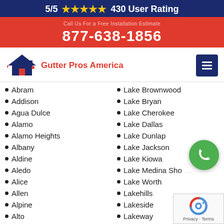5/5 ★★★★★ 430 User Rating
877-638-1856
[Figure (logo): Gutter Pros America logo with house icon]
Abram
Addison
Agua Dulce
Alamo
Alamo Heights
Albany
Aldine
Aledo
Alice
Allen
Alpine
Alto
Alton
Lake Brownwood
Lake Bryan
Lake Cherokee
Lake Dallas
Lake Dunlap
Lake Jackson
Lake Kiowa
Lake Medina Sho...
Lake Worth
Lakehills
Lakeside
Lakeway
Lamesa